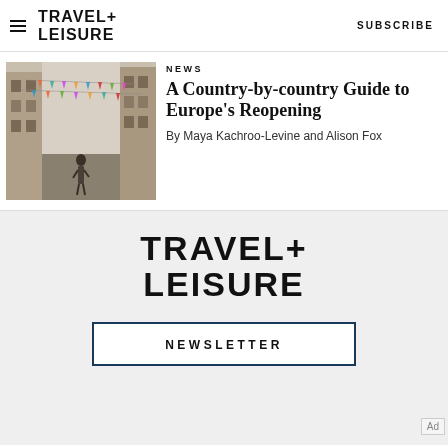TRAVEL+ LEISURE   SUBSCRIBE
[Figure (photo): Person walking down a narrow European street with colorful bunting/streamers hanging overhead, tall stone buildings on both sides.]
NEWS
A Country-by-country Guide to Europe's Reopening
By Maya Kachroo-Levine and Alison Fox
[Figure (logo): TRAVEL+ LEISURE logo in large black bold text on light gray background]
NEWSLETTER